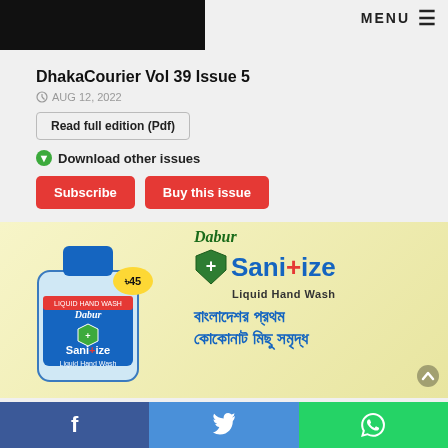[Figure (screenshot): Dark/black image strip at top left]
MENU ☰
DhakaCourier Vol 39 Issue 5
AUG 12, 2022
Read full edition (Pdf)
Download other issues
Subscribe   Buy this issue
[Figure (photo): Dabur Sanitize Liquid Hand Wash advertisement with product bottle on left and branding on right including Bengali text]